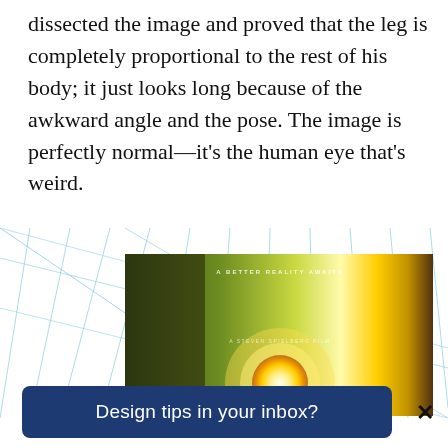dissected the image and proved that the leg is completely proportional to the rest of his body; it just looks long because of the awkward angle and the pose. The image is perfectly normal—it's the human eye that's weird.
[Figure (photo): A movie poster for 'Ready Player One' directed by Steven Spielberg, overlaid with a grid/perspective analysis overlay of light blue lines. The poster shows a glowing sun/orb on a green-yellow background with the text 'A BETTER REALITY AWAITS' at the top and the movie title 'READY PLAYER ONE' in blocky white outlined letters at the bottom.]
Design tips in your inbox?